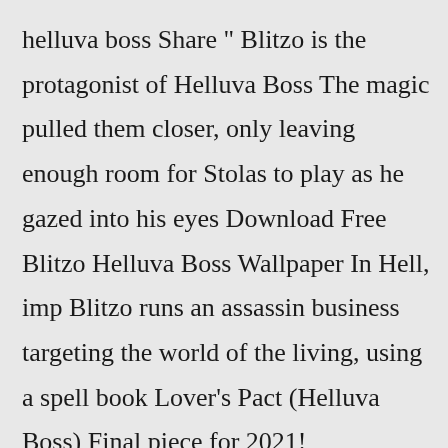helluva boss Share " Blitzo is the protagonist of Helluva Boss The magic pulled them closer, only leaving enough room for Stolas to play as he gazed into his eyes Download Free Blitzo Helluva Boss Wallpaper In Hell, imp Blitzo runs an assassin business targeting the world of the living, using a spell book Lover's Pact (Helluva Boss) Final piece for 2021! (Exclusively uncensored here, as of posting)